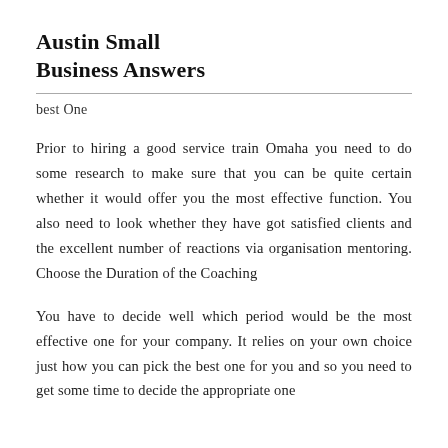Austin Small Business Answers
best One
Prior to hiring a good service train Omaha you need to do some research to make sure that you can be quite certain whether it would offer you the most effective function. You also need to look whether they have got satisfied clients and the excellent number of reactions via organisation mentoring. Choose the Duration of the Coaching
You have to decide well which period would be the most effective one for your company. It relies on your own choice just how you can pick the best one for you and so you need to get some time to decide the appropriate one